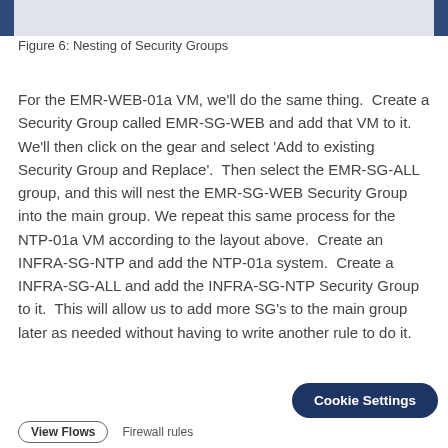[Figure (other): Top decorative image bar with dark blue accent panels on left and right and light gray center area]
Figure 6: Nesting of Security Groups
For the EMR-WEB-01a VM, we'll do the same thing.  Create a Security Group called EMR-SG-WEB and add that VM to it. We'll then click on the gear and select 'Add to existing Security Group and Replace'.  Then select the EMR-SG-ALL group, and this will nest the EMR-SG-WEB Security Group into the main group. We repeat this same process for the NTP-01a VM according to the layout above.  Create an INFRA-SG-NTP and add the NTP-01a system.  Create a INFRA-SG-ALL and add the INFRA-SG-NTP Security Group to it.  This will allow us to add more SG's to the main group later as needed without having to write another rule to do it.
View Flows   Firewall rules